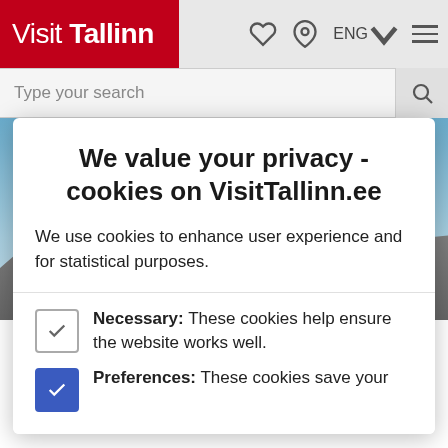Visit Tallinn — ENG — navigation header with search bar
[Figure (screenshot): Background photo of Tallinn old town buildings and blue sky, partially visible behind a cookie consent modal dialog]
We value your privacy - cookies on VisitTallinn.ee
We use cookies to enhance user experience and for statistical purposes.
Necessary: These cookies help ensure the website works well.
Preferences: These cookies save your